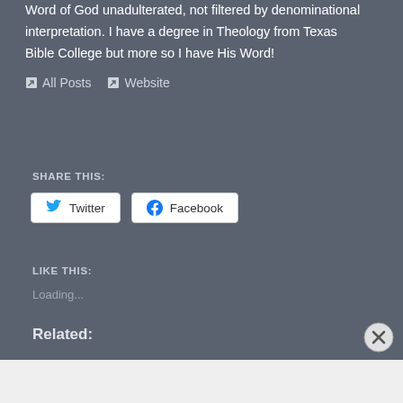Word of God unadulterated, not filtered by denominational interpretation. I have a degree in Theology from Texas Bible College but more so I have His Word!
All Posts  Website
SHARE THIS:
Twitter  Facebook
LIKE THIS:
Loading...
Related: